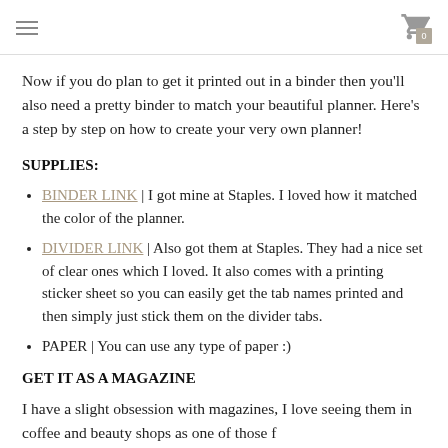≡  [cart icon] 0
Now if you do plan to get it printed out in a binder then you'll also need a pretty binder to match your beautiful planner. Here's a step by step on how to create your very own planner!
SUPPLIES:
BINDER LINK | I got mine at Staples. I loved how it matched the color of the planner.
DIVIDER LINK | Also got them at Staples. They had a nice set of clear ones which I loved. It also comes with a printing sticker sheet so you can easily get the tab names printed and then simply just stick them on the divider tabs.
PAPER | You can use any type of paper :)
GET IT AS A MAGAZINE
I have a slight obsession with magazines, I love seeing them in coffee and beauty shops as one of those f...